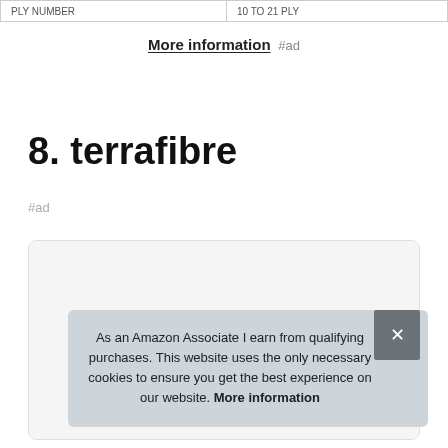|  |  |
| --- | --- |
| PLY NUMBER | 10 TO 21 PLY |
More information #ad
8. terrafibre
#ad
[Figure (photo): Product card showing a terrafibre product image, partially visible]
As an Amazon Associate I earn from qualifying purchases. This website uses the only necessary cookies to ensure you get the best experience on our website. More information